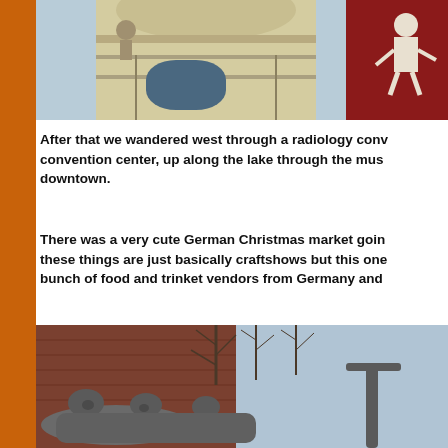[Figure (photo): Architectural photo showing a building facade with ornate details and a mural on the right side with figures on red background]
After that we wandered west through a radiology conv... convention center, up along the lake through the mus... downtown.
There was a very cute German Christmas market goin... these things are just basically craftshows but this one... bunch of food and trinket vendors from Germany and ...
[Figure (photo): Outdoor sculpture showing abstract human-like figures in bronze/stone, with bare winter trees and a brick building in the background]